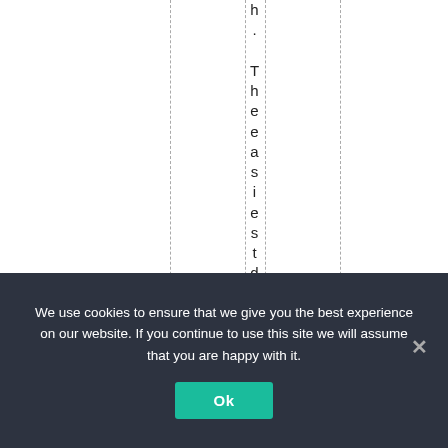h. The easiest datat
We use cookies to ensure that we give you the best experience on our website. If you continue to use this site we will assume that you are happy with it.